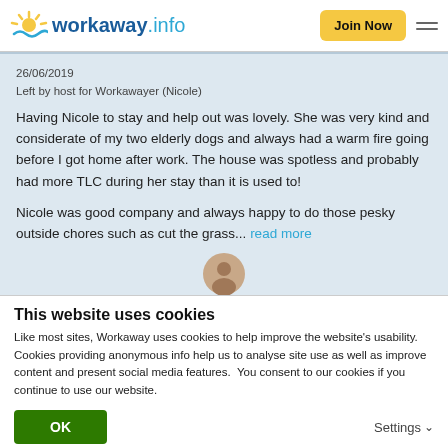workaway.info | Join Now
26/06/2019
Left by host for Workawayer (Nicole)
Having Nicole to stay and help out was lovely. She was very kind and considerate of my two elderly dogs and always had a warm fire going before I got home after work. The house was spotless and probably had more TLC during her stay than it is used to!

Nicole was good company and always happy to do those pesky outside chores such as cut the grass... read more
This website uses cookies
Like most sites, Workaway uses cookies to help improve the website's usability. Cookies providing anonymous info help us to analyse site use as well as improve content and present social media features.  You consent to our cookies if you continue to use our website.
OK
Settings